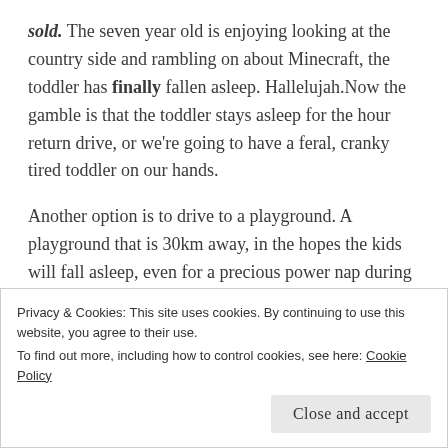sold. The seven year old is enjoying looking at the country side and rambling on about Minecraft, the toddler has finally fallen asleep. Hallelujah.Now the gamble is that the toddler stays asleep for the hour return drive, or we're going to have a feral, cranky tired toddler on our hands.
Another option is to drive to a playground. A playground that is 30km away, in the hopes the kids will fall asleep, even for a precious power nap during the journey. If they don't, there's the option of playing chasey at the playground to wear them out so they
Privacy & Cookies: This site uses cookies. By continuing to use this website, you agree to their use.
To find out more, including how to control cookies, see here: Cookie Policy
Close and accept